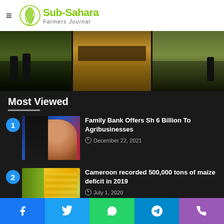Sub-Sahara Farmers Journal
[Figure (photo): Three farm/agriculture photos in a horizontal strip showing people working in fields and tilled soil]
Most Viewed
Family Bank Offers Sh 6 Billion To Agribusinesses
December 22, 2021
Cameroon recorded 500,000 tons of maize deficit in 2019
July 1, 2020
Facebook | Twitter | WhatsApp | Telegram | Phone